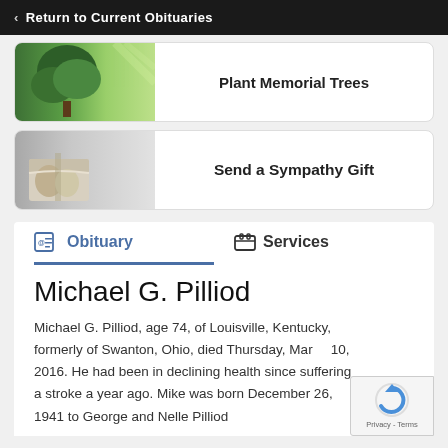‹ Return to Current Obituaries
[Figure (illustration): Banner advertisement for Plant Memorial Trees — green tree and foliage background with bold text]
[Figure (illustration): Banner advertisement for Send a Sympathy Gift — wrapped gift items on white/grey background]
Obituary   Services
Michael G. Pilliod
Michael G. Pilliod, age 74, of Louisville, Kentucky, formerly of Swanton, Ohio, died Thursday, March 10, 2016. He had been in declining health since suffering a stroke a year ago. Mike was born December 26, 1941 to George and Nelle Pilliod